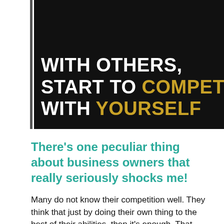[Figure (illustration): Dark banner image with white and gold bold uppercase text reading: WITH OTHERS, START TO COMPETE WITH YOURSELF]
There’s one peculiar thing about business owners that really seriously shocks me!
Many do not know their competition well. They think that just by doing their own thing to the best of their abilities, then it’s enough. That customers will flock in masses to them. That the profits will flow like a running tap. Perhaps they believe quotes like “The only competition is yourself”, or this classic [...]